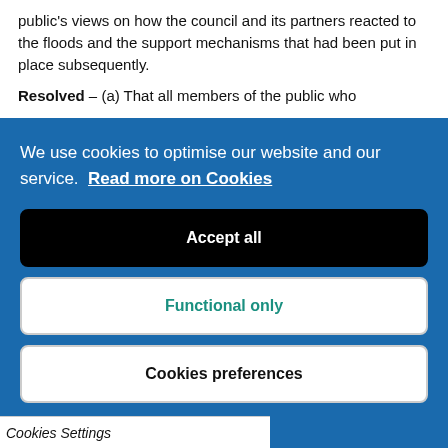public's views on how the council and its partners reacted to the floods and the support mechanisms that had been put in place subsequently.
Resolved – (a) That all members of the public who
We use cookies to optimise our website and our service.  Read more on Cookies
Accept all
Functional only
Cookies preferences
Cookies Settings